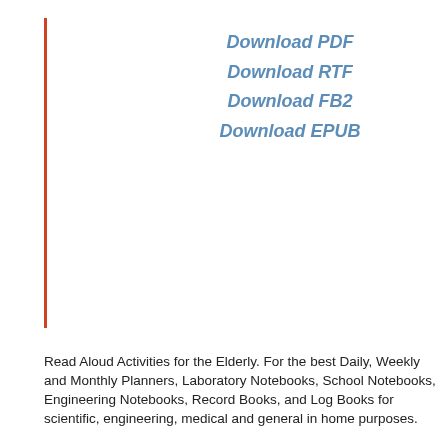Download PDF
Download RTF
Download FB2
Download EPUB
Read Aloud Activities for the Elderly. For the best Daily, Weekly and Monthly Planners, Laboratory Notebooks, School Notebooks, Engineering Notebooks, Record Books, and Log Books for scientific, engineering, medical and general in home purposes.
We pride ourselves on delivering quality and uniquely designed books Price: $ To find services in your parent’s community, contact the area agency on aging, which you can find through the Eldercare Locator ( or ).
Community Services PHONE / WEBSITE CONTACT PERSON NOTES Area agency on aging